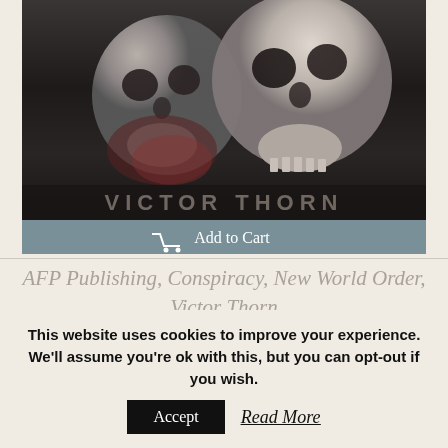[Figure (photo): Book cover image showing skulls on dark background with author name VICTOR THORN at bottom, with a steel-blue Add to Cart button below]
AFP Publishing, Conspiracy, New World Order, Victor Thorn
This website uses cookies to improve your experience. We'll assume you're ok with this, but you can opt-out if you wish.
Accept   Read More